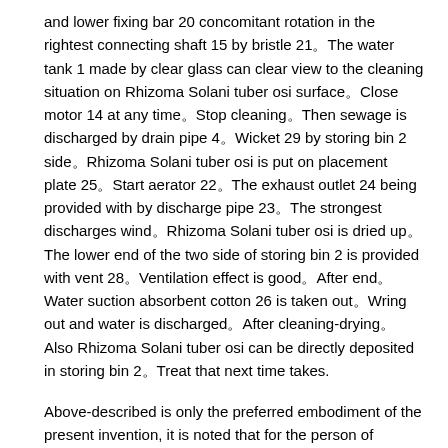and lower fixing bar 20 concomitant rotation in the rightest connecting shaft 15 by bristle 21。The water tank 1 made by clear glass can clear view to the cleaning situation on Rhizoma Solani tuber osi surface。Close motor 14 at any time。Stop cleaning。Then sewage is discharged by drain pipe 4。Wicket 29 by storing bin 2 side。Rhizoma Solani tuber osi is put on placement plate 25。Start aerator 22。The exhaust outlet 24 being provided with by discharge pipe 23。The strongest discharges wind。Rhizoma Solani tuber osi is dried up。The lower end of the two side of storing bin 2 is provided with vent 28。Ventilation effect is good。After end。Water suction absorbent cotton 26 is taken out。Wring out and water is discharged。After cleaning-drying。Also Rhizoma Solani tuber osi can be directly deposited in storing bin 2。Treat that next time takes.
Above-described is only the preferred embodiment of the present invention, it is noted that for the person of ordinary skill of the art, without departing from the concept of the premise of the invention, it is also possible to make some deformation and improvement, these broadly fall into protection scope of the present invention.